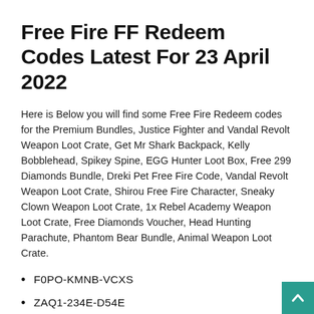Free Fire FF Redeem Codes Latest For 23 April 2022
Here is Below you will find some Free Fire Redeem codes for the Premium Bundles, Justice Fighter and Vandal Revolt Weapon Loot Crate, Get Mr Shark Backpack, Kelly Bobblehead, Spikey Spine, EGG Hunter Loot Box, Free 299 Diamonds Bundle, Dreki Pet Free Fire Code, Vandal Revolt Weapon Loot Crate, Shirou Free Fire Character, Sneaky Clown Weapon Loot Crate, 1x Rebel Academy Weapon Loot Crate, Free Diamonds Voucher, Head Hunting Parachute, Phantom Bear Bundle, Animal Weapon Loot Crate.
F0PO-KMNB-VCXS
ZAQ1-234E-D54E
FG65-RFGH-JI98
H7KO-9918-JJGE